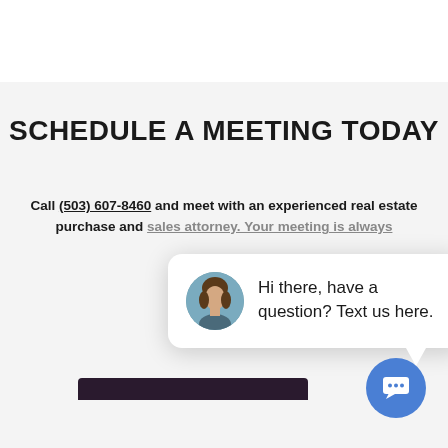SCHEDULE A MEETING TODAY
Call (503) 607-8460 and meet with an experienced real estate purchase and sales attorney. Your meeting is always
[Figure (screenshot): Chat popup widget showing a woman's avatar photo and the message 'Hi there, have a question? Text us here.' with a close button and a blue chat bubble icon button at the bottom right.]